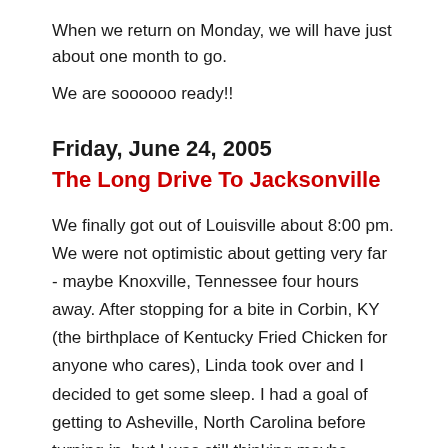When we return on Monday, we will have just about one month to go.
We are soooooo ready!!
Friday, June 24, 2005
The Long Drive To Jacksonville
We finally got out of Louisville about 8:00 pm. We were not optimistic about getting very far - maybe Knoxville, Tennessee four hours away. After stopping for a bite in Corbin, KY (the birthplace of Kentucky Fried Chicken for anyone who cares), Linda took over and I decided to get some sleep. I had a goal of getting to Asheville, North Carolina before turning in, but I was still thinking maybe Knoxville by midnight.
I was able to get a little sleep between the bone jarring bumps on our fine interstate highways, and I woke up for good as Linda was just about to actually make it into Asheville around 2:30 am Saturday. We pulled into a hotel only to find that they were full. As we were getting